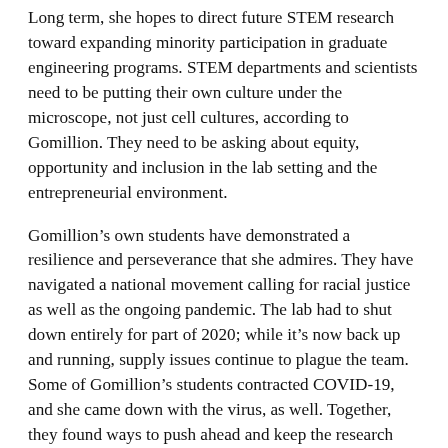Long term, she hopes to direct future STEM research toward expanding minority participation in graduate engineering programs. STEM departments and scientists need to be putting their own culture under the microscope, not just cell cultures, according to Gomillion. They need to be asking about equity, opportunity and inclusion in the lab setting and the entrepreneurial environment.
Gomillion's own students have demonstrated a resilience and perseverance that she admires. They have navigated a national movement calling for racial justice as well as the ongoing pandemic. The lab had to shut down entirely for part of 2020; while it's now back up and running, supply issues continue to plague the team. Some of Gomillion's students contracted COVID-19, and she came down with the virus, as well. Together, they found ways to push ahead and keep the research going.
“Everyone needs something as an individual,” Gomillion says. “But collectively, as a group, we have to keep moving forward, even with disruption. Cells are living things; you